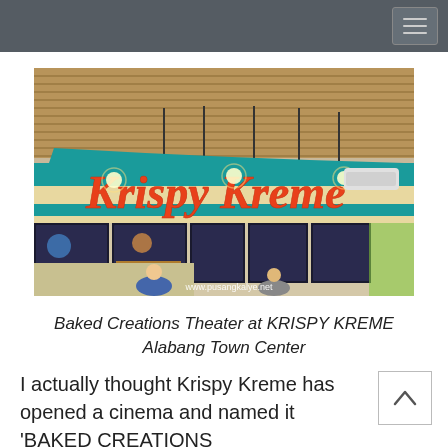[Figure (photo): Interior photo of a Krispy Kreme store showing the teal brand signage with orange scripted 'Krispy Kreme' logo, wooden slat ceiling, menu boards, and staff. Watermark: www.pusangkalye.net]
Baked Creations Theater at KRISPY KREME Alabang Town Center
I actually thought Krispy Kreme has opened a cinema and named it 'BAKED CREATIONS